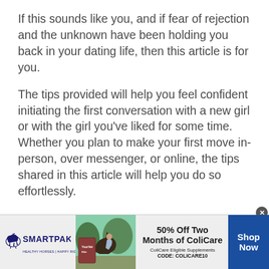If this sounds like you, and if fear of rejection and the unknown have been holding you back in your dating life, then this article is for you.
The tips provided will help you feel confident initiating the first conversation with a new girl or with the girl you've liked for some time. Whether you plan to make your first move in-person, over messenger, or online, the tips shared in this article will help you do so effortlessly.
[Figure (infographic): Advertisement banner for SmartPak featuring a horse supplement product. Shows SmartPak logo with horse icon on the left, a product image and horse photo in the middle, bold text '50% Off Two Months of ColiCare' with 'ColiCare Eligible Supplements CODE: COLICARE10', and a blue 'Shop Now' button on the right. Has a close (X) button at top right.]